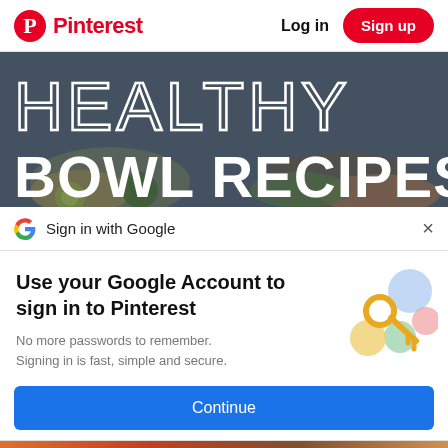Pinterest | Log in | Sign up
[Figure (photo): Hero image with food bowls in the background and large text overlay reading HEALTHY BOWL RECIPES]
Sign in with Google
Use your Google Account to sign in to Pinterest
No more passwords to remember. Signing in is fast, simple and secure.
[Figure (illustration): Google key illustration with colorful circles and a golden key]
Continue